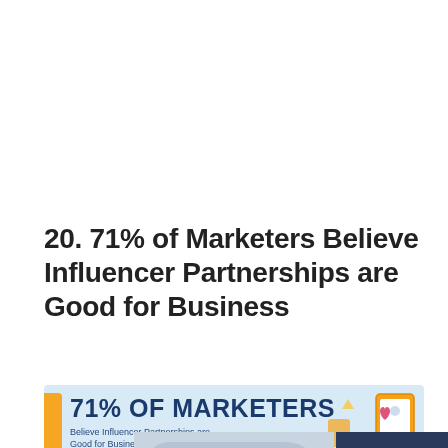20. 71% of Marketers Believe Influencer Partnerships are Good for Business
[Figure (infographic): Light blue infographic banner with orange vertical bar on left. Large bold text '71% OF MARKETERS' in dark navy blue, subtext 'Believe Influencer Partnerships are Good for Business'. Decorative icons on the right side including a phone/screen with a heart icon.]
[Figure (photo): Partially visible photo of a cargo airplane on tarmac with red/gold stripe livery, overlapping with a dark navy blue panel containing white text 'WITHOUT REGARD TO POLITICS, RELIGION, OR ABILITY TO PAY'.]